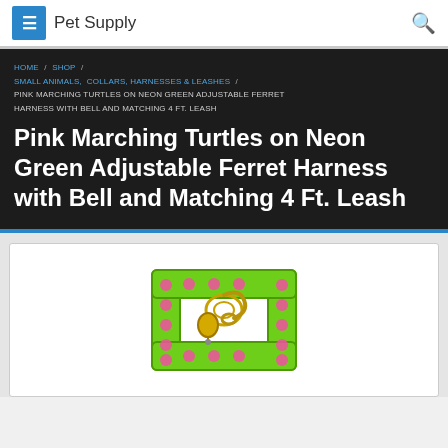Pet Supply
HOME / SHOP / SMALL ANIMALS, COLLARS, HARNESSES & LEASHES / PINK MARCHING TURTLES ON NEON GREEN ADJUSTABLE FERRET HARNESS WITH BELL AND MATCHING 4 FT. LEASH
Pink Marching Turtles on Neon Green Adjustable Ferret Harness with Bell and Matching 4 Ft. Leash
[Figure (photo): Pink and neon green ferret harness with bell and gold clasp hardware, shown from above against white background]